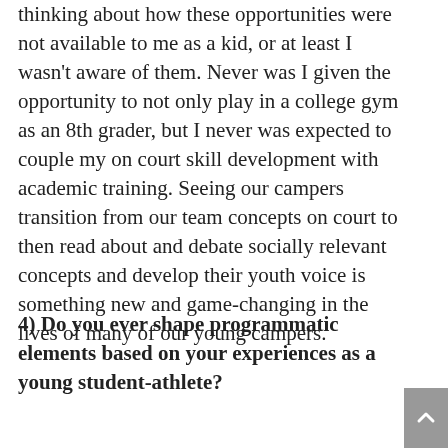thinking about how these opportunities were not available to me as a kid, or at least I wasn't aware of them. Never was I given the opportunity to not only play in a college gym as an 8th grader, but I never was expected to couple my on court skill development with academic training. Seeing our campers transition from our team concepts on court to then read about and debate socially relevant concepts and develop their youth voice is something new and game-changing in the lives of many of our young campers.
4) Do you ever shape programmatic elements based on your experiences as a young student-athlete?